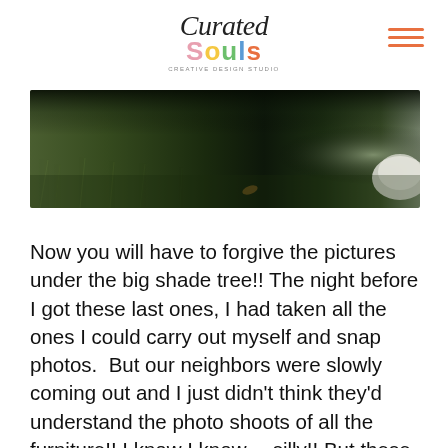Curated Souls — Creative Design Studio
[Figure (photo): A close-up photo of grass and ground under a large shade tree, dark green tones with a white object partially visible at the right edge.]
Now you will have to forgive the pictures under the big shade tree!! The night before I got these last ones, I had taken all the ones I could carry out myself and snap photos.  But our neighbors were slowly coming out and I just didn't think they'd understand the photo shoots of all the furniture!! I know I know… silly!! But these last